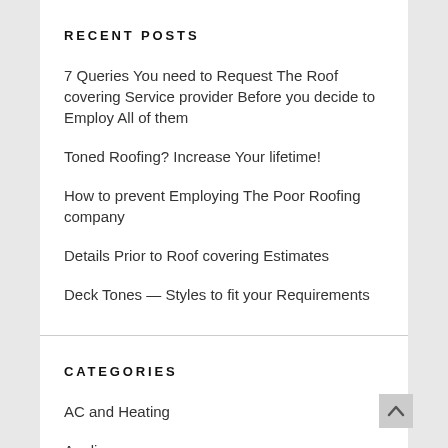RECENT POSTS
7 Queries You need to Request The Roof covering Service provider Before you decide to Employ All of them
Toned Roofing? Increase Your lifetime!
How to prevent Employing The Poor Roofing company
Details Prior to Roof covering Estimates
Deck Tones — Styles to fit your Requirements
CATEGORIES
AC and Heating
Appliances
Bathroom